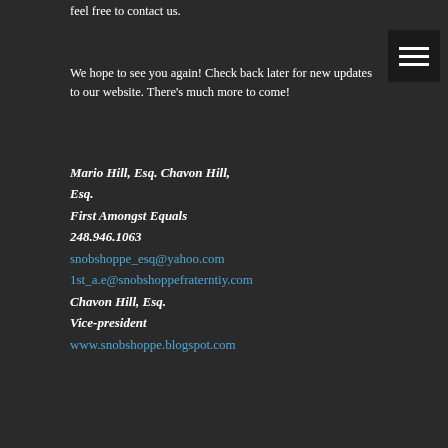feel free to contact us.
We hope to see you again! Check back later for new updates to our website. There's much more to come!
Mario Hill, Esq. Chavon Hill, Esq.
First Amongst Equals
248.946.1063
snobshoppe_esq@yahoo.com
1st_a.e@snobshoppefraterntiy.com
Chavon Hill, Esq.
Vice-president
www.snobshoppe.blogspot.com
P.O. Box 35171
Detroit, MI 48235
+ SHARE